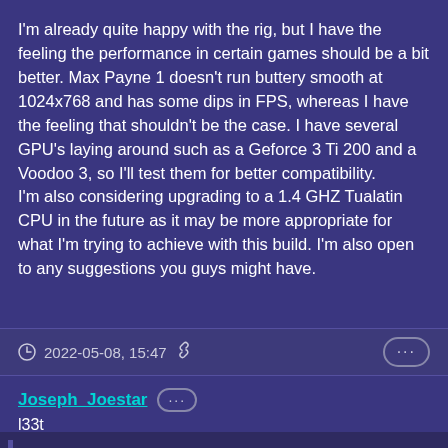I'm already quite happy with the rig, but I have the feeling the performance in certain games should be a bit better. Max Payne 1 doesn't run buttery smooth at 1024x768 and has some dips in FPS, whereas I have the feeling that shouldn't be the case. I have several GPU's laying around such as a Geforce 3 Ti 200 and a Voodoo 3, so I'll test them for better compatibility.
I'm also considering upgrading to a 1.4 GHZ Tualatin CPU in the future as it may be more appropriate for what I'm trying to achieve with this build. I'm also open to any suggestions you guys might have.
2022-05-08, 15:47
Joseph_Joestar
l33t
bassix6 wrote on 2022-05-08, 15:33: